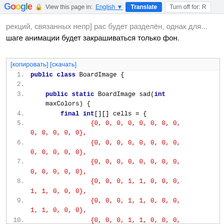Google | View this page in: English | Translate | Turn off for: R
...рекций, связанных непр] рас будет разделён, однак для... шаге анимации будет закрашиваться только фон.
[Figure (screenshot): Code block with [копировать] [скачать] links and Java code showing BoardImage class with int[][] cells array initialization]
[копировать] [скачать]
1. public class BoardImage {
2.
3.     public static BoardImage sad(int maxColors) {
4.         final int[][] cells = {
5.                 {0, 0, 0, 0, 0, 0, 0, 0, 0, 0, 0, 0, 0},
6.                 {0, 0, 0, 0, 0, 0, 0, 0, 0, 0, 0, 0, 0},
7.                 {0, 0, 0, 0, 0, 0, 0, 0, 0, 0, 0, 0, 0},
8.                 {0, 0, 0, 1, 1, 0, 0, 0, 1, 1, 0, 0, 0},
9.                 {0, 0, 0, 1, 1, 0, 0, 0, 1, 1, 0, 0, 0},
10.                {0, 0, 0, 1, 1, 0, 0, 0, 1, 1, 0, 0, 0},
11.                {0, 0, 0, ...